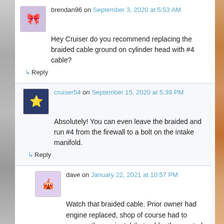brendan96 on September 3, 2020 at 5:53 AM
Hey Cruiser do you recommend replacing the braided cable ground on cylinder head with #4 cable?
↳ Reply
cruiser54 on September 15, 2020 at 5:39 PM
Absolutely! You can even leave the braided and run #4 from the firewall to a bolt on the intake manifold.
↳ Reply
dave on January 22, 2021 at 10:57 PM
Watch that braided cable. Prior owner had engine replaced, shop of course had to remove then re instal that cable, they routed it over the wire bundle rather than under it. vibration caused the braided cable to cut into the wire harness!